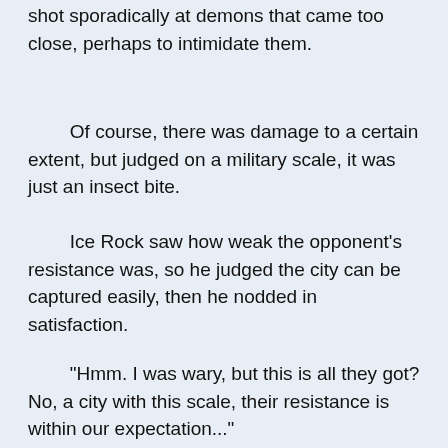There was no much resistance, and arrows were shot sporadically at demons that came too close, perhaps to intimidate them.
Of course, there was damage to a certain extent, but judged on a military scale, it was just an insect bite.
Ice Rock saw how weak the opponent's resistance was, so he judged the city can be captured easily, then he nodded in satisfaction.
"Hmm. I was wary, but this is all they got? No, a city with this scale, their resistance is within our expectation..."